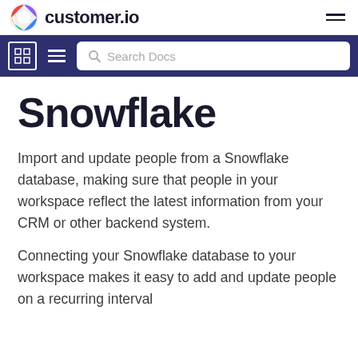customer.io
Snowflake
Import and update people from a Snowflake database, making sure that people in your workspace reflect the latest information from your CRM or other backend system.
Connecting your Snowflake database to your workspace makes it easy to add and update people on a recurring interval